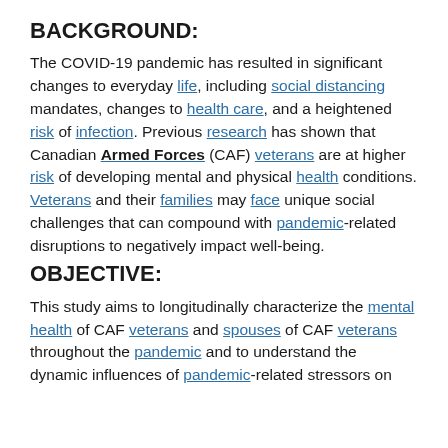BACKGROUND:
The COVID-19 pandemic has resulted in significant changes to everyday life, including social distancing mandates, changes to health care, and a heightened risk of infection. Previous research has shown that Canadian Armed Forces (CAF) veterans are at higher risk of developing mental and physical health conditions. Veterans and their families may face unique social challenges that can compound with pandemic-related disruptions to negatively impact well-being.
OBJECTIVE:
This study aims to longitudinally characterize the mental health of CAF veterans and spouses of CAF veterans throughout the pandemic and to understand the dynamic influences of pandemic-related stressors on